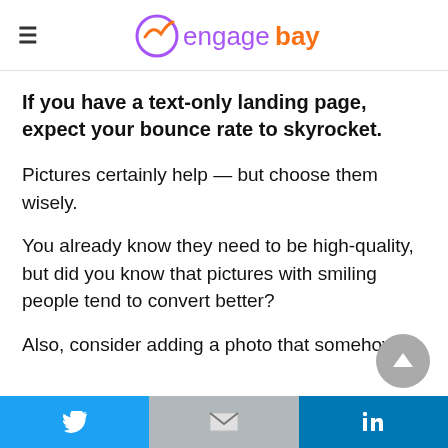EngageBay
If you have a text-only landing page, expect your bounce rate to skyrocket.
Pictures certainly help — but choose them wisely.
You already know they need to be high-quality, but did you know that pictures with smiling people tend to convert better?
Also, consider adding a photo that somehow
Twitter | Gmail | LinkedIn share buttons